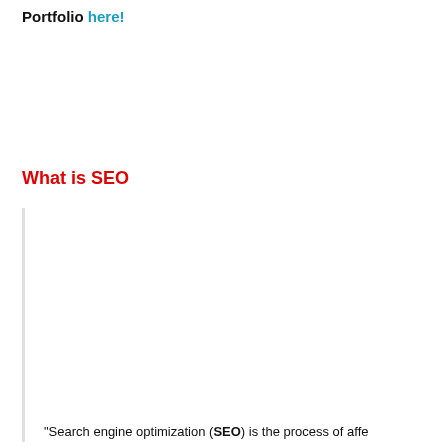Portfolio here!
What is SEO
"Search engine optimization (SEO) is the process of affecting...